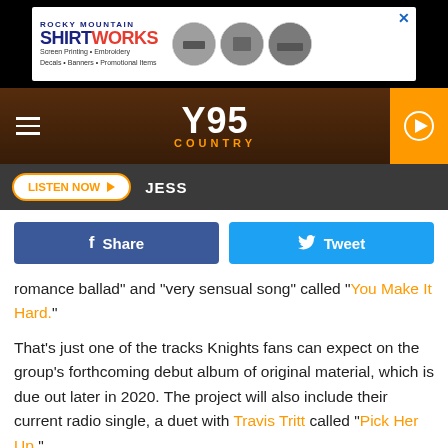[Figure (screenshot): Rocky Mountain ShirtWorks advertisement banner with logo and circular product photos]
[Figure (screenshot): Y95 Country radio station navigation bar with hamburger menu, Y95 COUNTRY logo, and orange play button]
LISTEN NOW  JESS
f Share   Tweet
romance ballad" and "very sensual song" called "You Make It Hard."
That's just one of the tracks Knights fans can expect on the group's forthcoming debut album of original material, which is due out later in 2020. The project will also include their current radio single, a duet with Travis Tritt called "Pick Her Up."